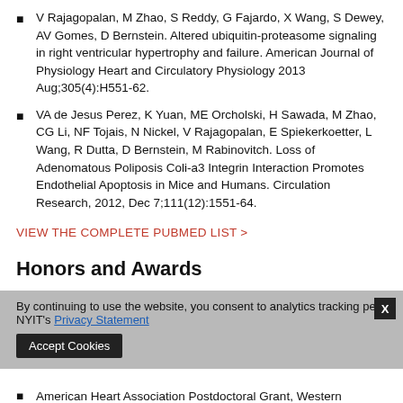V Rajagopalan, M Zhao, S Reddy, G Fajardo, X Wang, S Dewey, AV Gomes, D Bernstein. Altered ubiquitin-proteasome signaling in right ventricular hypertrophy and failure. American Journal of Physiology Heart and Circulatory Physiology 2013 Aug;305(4):H551-62.
VA de Jesus Perez, K Yuan, ME Orcholski, H Sawada, M Zhao, CG Li, NF Tojais, N Nickel, V Rajagopalan, E Spiekerkoetter, L Wang, R Dutta, D Bernstein, M Rabinovitch. Loss of Adenomatous Poliposis Coli-a3 Integrin Interaction Promotes Endothelial Apoptosis in Mice and Humans. Circulation Research, 2012, Dec 7;111(12):1551-64.
VIEW THE COMPLETE PUBMED LIST >
Honors and Awards
By continuing to use the website, you consent to analytics tracking per NYIT's Privacy Statement
American Heart Association Postdoctoral Grant, Western